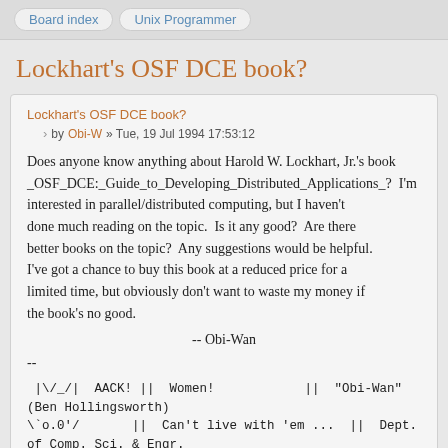Board index  Unix Programmer
Lockhart's OSF DCE book?
Lockhart's OSF DCE book?
by Obi-W » Tue, 19 Jul 1994 17:53:12
Does anyone know anything about Harold W. Lockhart, Jr.'s book _OSF_DCE:_Guide_to_Developing_Distributed_Applications_?  I'm interested in parallel/distributed computing, but I haven't done much reading on the topic.  Is it any good?  Are there better books on the topic?  Any suggestions would be helpful. I've got a chance to buy this book at a reduced price for a limited time, but obviously don't want to waste my money if the book's no good.

                    -- Obi-Wan
--
 |\_/|  AACK! ||  Women!             ||  "Obi-Wan" (Ben Hollingsworth)
 \'o.0'/       ||  Can't live with 'em ...  ||  Dept. of Comp. Sci. & Engr.
 =(___)==     ||    pass the beer nuts.   ||  University of Nebraska - Lincoln